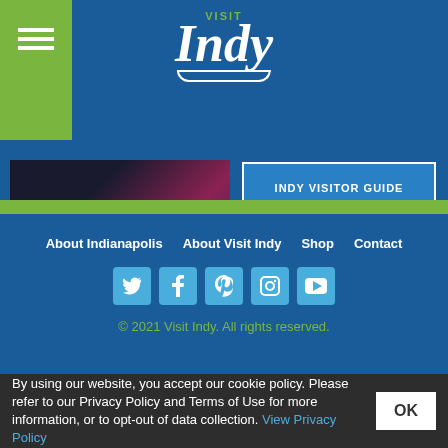[Figure (logo): Visit Indy logo with hamburger menu on green sidebar, blue header background]
[Figure (photo): Center Stage event promotional image with dark overlay]
INDY VISITOR GUIDE
SIGN UP FOR EMAIL
About Indianapolis  About Visit Indy  Shop  Contact
[Figure (illustration): Social media icons: Twitter, Facebook, Pinterest, Instagram, YouTube]
© 2021 Visit Indy. All rights reserved.
By using our website, you accept our cookie policy. Please refer to our Privacy Policy and Terms of Use for more information, or to opt-out of data collection.  View Privacy Policy  OK